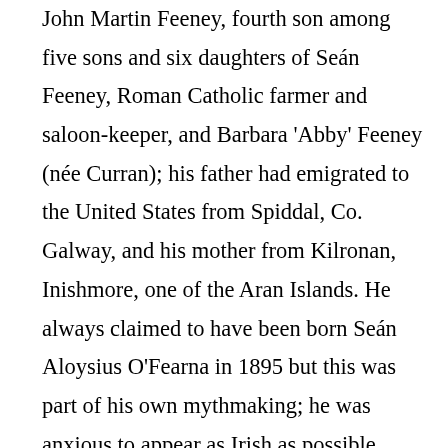John Martin Feeney, fourth son among five sons and six daughters of Seán Feeney, Roman Catholic farmer and saloon-keeper, and Barbara 'Abby' Feeney (née Curran); his father had emigrated to the United States from Spiddal, Co. Galway, and his mother from Kilronan, Inishmore, one of the Aran Islands. He always claimed to have been born Seán Aloysius O'Fearna in 1895 but this was part of his own mythmaking; he was anxious to appear as Irish as possible. From an early age he had an interest in painting and sailing, and in July 1914 moved to California, where his older brother, using the name 'Francis Ford', was an actor with a small